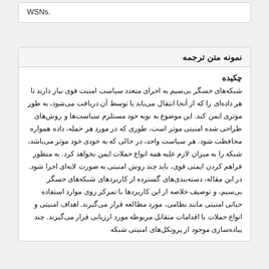WSNs.
نمونه متن ترجمه
چکیده
شبکه‌های حسگر بی‌سیم به اجرای متعدد سیاست امنیت قوی نیاز دارند تا هر داده‌ای را که از آنجا انتقال می‌یابد یا توسط آن دریافت می‌شود، به طور موثری ایمن کند. این موضوع به نوبه خود مستلزم سیاست‌ها و روش‌های طراحی شده امنیتی موثر است، طوری که در مورد هر حمله، داده همواره محافظت شود. هر سیاست واحد، در حالی که به خودی خود موثر می‌باشد، شبکه را به میزان لازم علیه همه انواع حملات ایمن نخواهد کرد. به منظور فراهم کردن ایمنی قوی، باید چند روش امنیتی به صورت لایه‌ای اجرا شود. در این مقاله، دسته‌بندی‌های گسترده از کاربردهای شبکه‌های حسگر بی‌سیم، و توصیف خلاصه از این کاربردها با تمرکز روی موارد استفاده حیاتی امنیتی مانند نظامی، مورد مطالعه قرار می‌گیرند. اهداف امنیتی و انواع حملات با اقدامات متقابل مربوطه مورد ارزیابی قرار می‌گیرند. چند پیاده‌سازی موجود از پروتکل‌های امنیتی شبکه